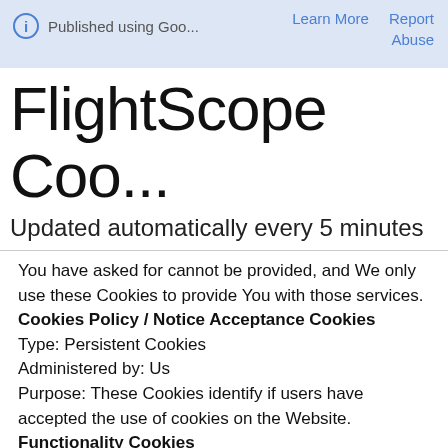Published using Goo...   Learn More   Report   Abuse
FlightScope Coo...
Updated automatically every 5 minutes
You have asked for cannot be provided, and We only use these Cookies to provide You with those services. Cookies Policy / Notice Acceptance Cookies Type: Persistent Cookies Administered by: Us Purpose: These Cookies identify if users have accepted the use of cookies on the Website. Functionality Cookies Type: Persistent Cookies Administered by: Us Purpose: These Cookies allow us to remember choices You make when You use the Website, such as remembering your login details or language preference. The purpose of these Cookies is to provide You with a more personal experience and to avoid You having to re-enter your preferences every